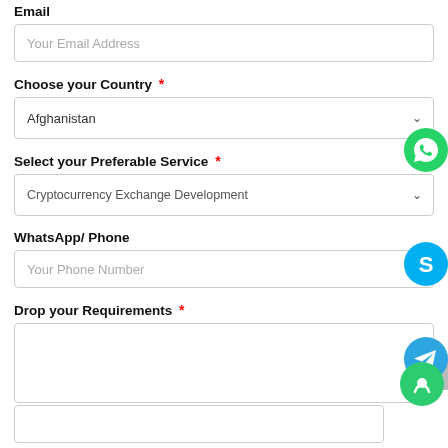Email
Your Email Address
Choose your Country *
Afghanistan
Select your Preferable Service *
Cryptocurrency Exchange Development
WhatsApp/ Phone
Your Phone Number
Drop your Requirements *
[Figure (logo): WhatsApp green speech bubble icon]
[Figure (logo): Skype blue circle with S letter icon]
[Figure (logo): Telegram paper plane blue circle icon]
[Figure (logo): Green chat bubble circle icon]